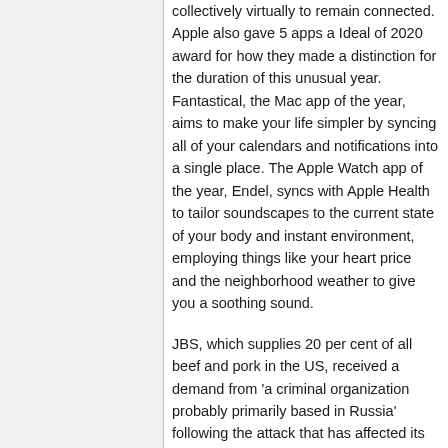collectively virtually to remain connected. Apple also gave 5 apps a Ideal of 2020 award for how they made a distinction for the duration of this unusual year. Fantastical, the Mac app of the year, aims to make your life simpler by syncing all of your calendars and notifications into a single place. The Apple Watch app of the year, Endel, syncs with Apple Health to tailor soundscapes to the current state of your body and instant environment, employing things like your heart price and the neighborhood weather to give you a soothing sound.
JBS, which supplies 20 per cent of all beef and pork in the US, received a demand from 'a criminal organization probably primarily based in Russia' following the attack that has affected its